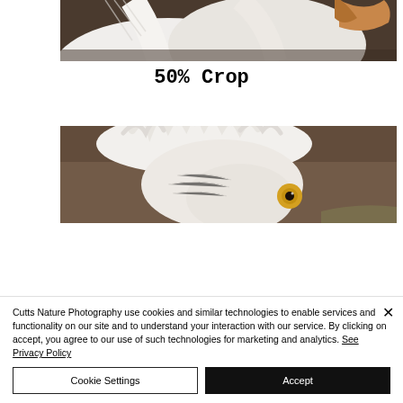[Figure (photo): Close-up of two white pelicans, showing white feathers and an orange beak, cropped at top of page]
50% Crop
[Figure (photo): Close-up cropped photo of a white bird (likely egret or pelican) with ruffled white feathers on its head and a yellow eye, against a brown background]
Cutts Nature Photography use cookies and similar technologies to enable services and functionality on our site and to understand your interaction with our service. By clicking on accept, you agree to our use of such technologies for marketing and analytics. See Privacy Policy
Cookie Settings
Accept